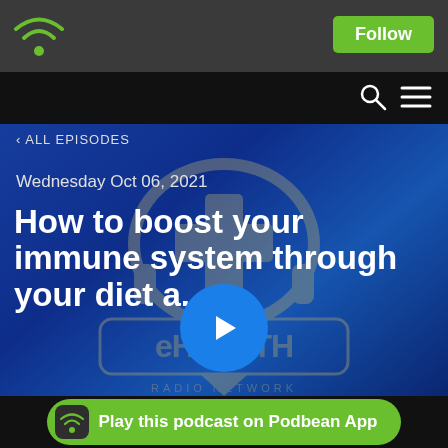[Figure (logo): Podbean WiFi/podcast logo icon in green on dark gray top bar]
Follow
[Figure (screenshot): Search and menu icons on black bar]
< ALL EPISODES
Wednesday Oct 06, 2021
How to boost your immune system through your diet a...
[Figure (logo): eHEALTH RADIO NETWORK logo with headphones and medical cross, overlaid on blue gradient background with play button]
Play this podcast on Podbean App